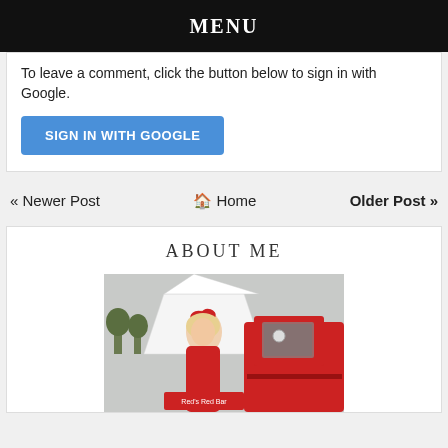MENU
To leave a comment, click the button below to sign in with Google.
SIGN IN WITH GOOGLE
« Newer Post   🏠 Home   Older Post »
ABOUT ME
[Figure (photo): Woman in red outfit with red bow in hair standing next to a red vintage truck, with a white tent and trees in the background.]